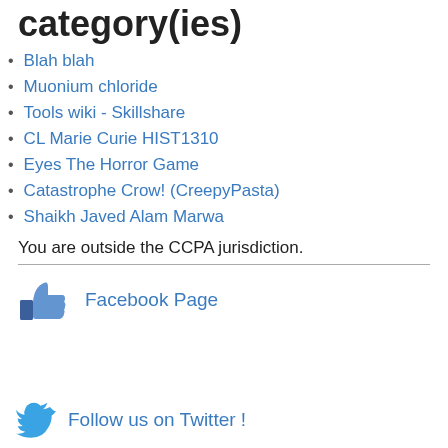category(ies)
Blah blah
Muonium chloride
Tools wiki - Skillshare
CL Marie Curie HIST1310
Eyes The Horror Game
Catastrophe Crow! (CreepyPasta)
Shaikh Javed Alam Marwa
You are outside the CCPA jurisdiction.
[Figure (logo): Facebook thumbs up like icon with text 'Facebook Page']
[Figure (logo): Twitter bird icon with text 'Follow us on Twitter !']